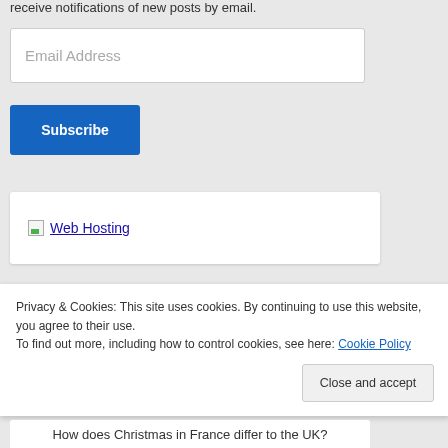receive notifications of new posts by email.
Email Address
Subscribe
[Figure (other): Web Hosting image link with broken image icon]
Privacy & Cookies: This site uses cookies. By continuing to use this website, you agree to their use.
To find out more, including how to control cookies, see here: Cookie Policy
Close and accept
How does Christmas in France differ to the UK?